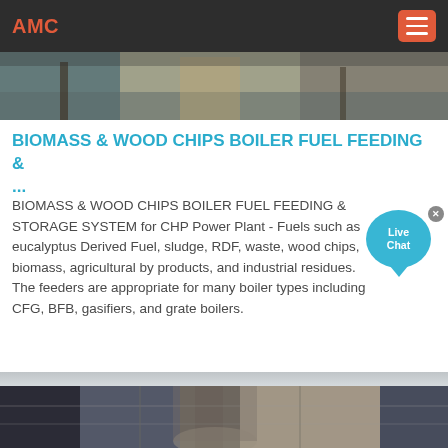AMC
[Figure (photo): Outdoor industrial biomass/wood chips processing site with machinery and raw material]
BIOMASS & WOOD CHIPS BOILER FUEL FEEDING & ...
BIOMASS & WOOD CHIPS BOILER FUEL FEEDING & STORAGE SYSTEM for CHP Power Plant - Fuels such as eucalyptus Derived Fuel, sludge, RDF, waste, wood chips, biomass, agricultural by products, and industrial residues. The feeders are appropriate for many boiler types including CFG, BFB, gasifiers, and grate boilers.
[Figure (photo): Interior of industrial facility showing large cylindrical equipment and structural steel framework]